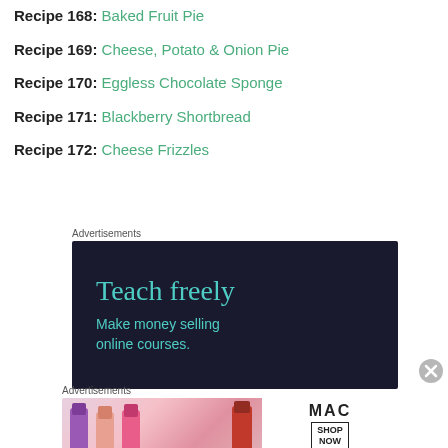Recipe 168: Baked Fruit Pie
Recipe 169: Cheese, Potato & Onion Pie
Recipe 170: Eggless Chocolate Sponge
Recipe 171: Blackberry Shortbread
Recipe 172: Cheese Frizzles
Advertisements
[Figure (other): Dark navy advertisement banner reading 'Teach freely' and 'Make money selling online courses.']
Advertisements
[Figure (other): MAC cosmetics advertisement showing lipsticks and 'SHOP NOW' button]